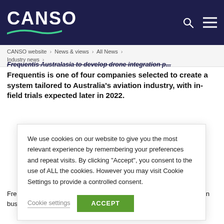CANSO
CANSO website › News & views › All News › Industry news ›
Frequentis Australasia to develop drone integration p... Frequentis is one of four companies selected to create a system tailored to Australia's aviation industry, with in-field trials expected later in 2022.
We use cookies on our website to give you the most relevant experience by remembering your preferences and repeat visits. By clicking "Accept", you consent to the use of ALL the cookies. However you may visit Cookie Settings to provide a controlled consent.
Cookie settings  ACCEPT
Fre... up... global Uncrewed Aerial Systems (UAS) industry. Australian businesses are at the forefront of the work, ensuring that